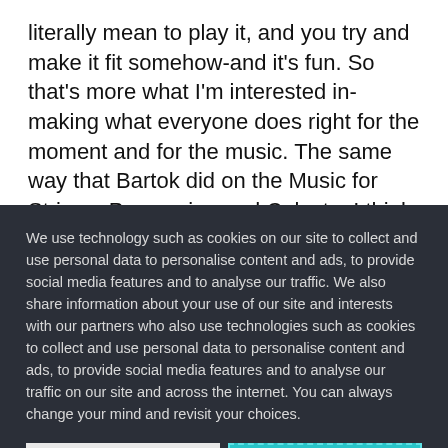literally mean to play it, and you try and make it fit somehow-and it's fun. So that's more what I'm interested in-making what everyone does right for the moment and for the music. The same way that Bartok did on the Music for Strings, Percussion and Celeste. I think it's the very opening of that [picks up his guitar
We use technology such as cookies on our site to collect and use personal data to personalise content and ads, to provide social media features and to analyse our traffic. We also share information about your use of our site and interests with our partners who also use technologies such as cookies to collect and use personal data to personalise content and ads, to provide social media features and to analyse our traffic on our site and across the internet. You can always change your mind and revisit your choices.